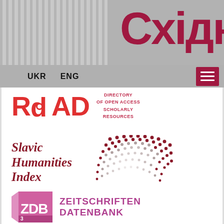[Figure (logo): Website header with grey striped pattern on left, large Cyrillic text 'Східни' in dark red on right, navigation bar with UKR/ENG links and hamburger menu]
[Figure (logo): ROAD - Directory of Open Access Scholarly Resources logo in red]
[Figure (logo): Slavic Humanities Index logo with dot pattern]
[Figure (logo): ZDB Zeitschriften Datenbank logo with pink/magenta geometric shapes]